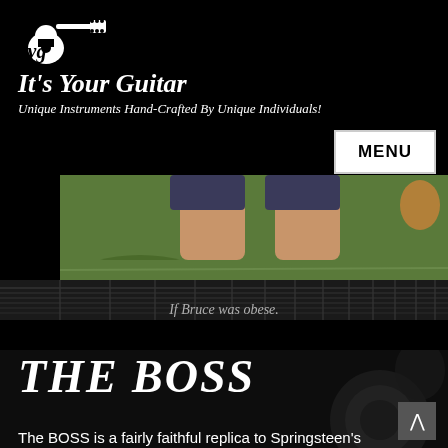[Figure (logo): It's Your Guitar logo with guitar silhouette and text 'IYG IT'S YOUR GUITAR']
It's Your Guitar
Unique Instruments Hand-Crafted By Unique Individuals!
[Figure (photo): Photo of person's legs/feet standing on green grass, cropped to show lower legs]
If Bruce was obese.
THE BOSS
The BOSS is a fairly faithful replica to Springsteen's